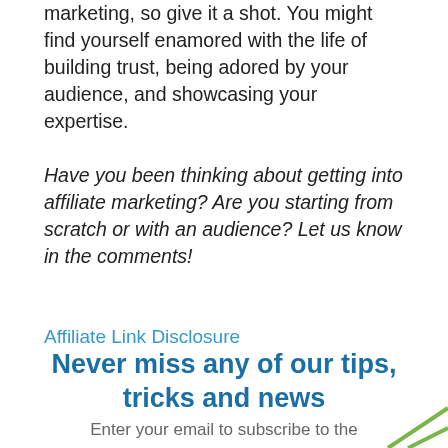marketing, so give it a shot. You might find yourself enamored with the life of building trust, being adored by your audience, and showcasing your expertise.
Have you been thinking about getting into affiliate marketing? Are you starting from scratch or with an audience? Let us know in the comments!
Affiliate Link Disclosure
Never miss any of our tips, tricks and news
Enter your email to subscribe to the